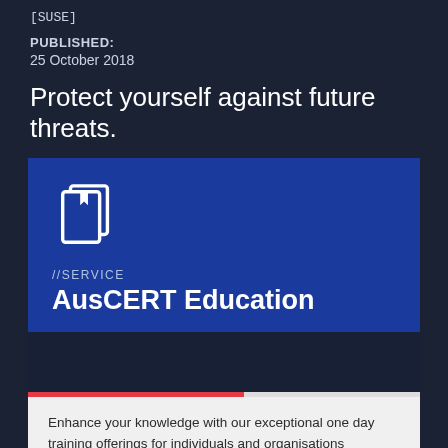[SUSE]
PUBLISHED:
25 October 2018
Protect yourself against future threats.
[Figure (illustration): AusCERT Education service card with book/document icon, service label '//SERVICE', and title 'AusCERT Education' on a blue gradient background, with a red/white divider bar and white bottom section]
Enhance your knowledge with our exceptional one day training offerings for individuals and organisations